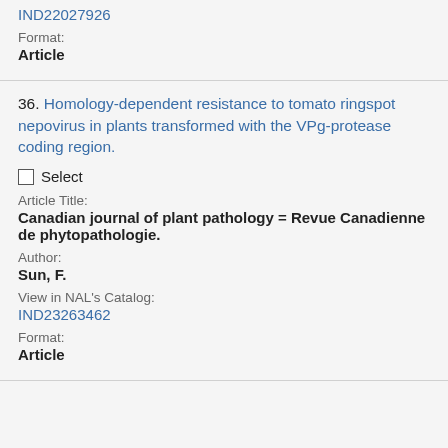IND22027926
Format:
Article
36. Homology-dependent resistance to tomato ringspot nepovirus in plants transformed with the VPg-protease coding region.
☐ Select
Article Title:
Canadian journal of plant pathology = Revue Canadienne de phytopathologie.
Author:
Sun, F.
View in NAL's Catalog:
IND23263462
Format:
Article